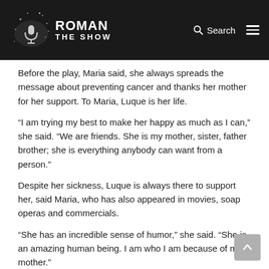Roman Show — Search / Menu header
Before the play, Maria said, she always spreads the message about preventing cancer and thanks her mother for her support. To Maria, Luque is her life.
“I am trying my best to make her happy as much as I can,” she said. “We are friends. She is my mother, sister, father brother; she is everything anybody can want from a person.”
Despite her sickness, Luque is always there to support her, said Maria, who has also appeared in movies, soap operas and commercials.
“She has an incredible sense of humor,” she said. “She is an amazing human being. I am who I am because of my mother.”
Read more: